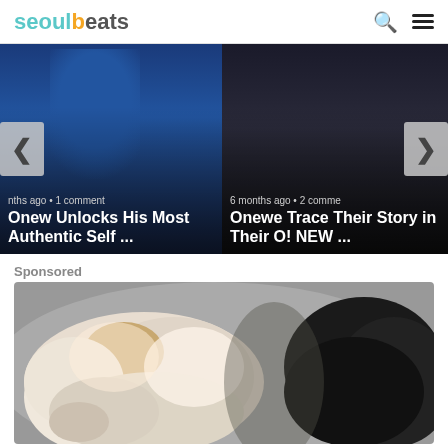seoulbeats
[Figure (screenshot): Article card carousel showing two articles: 'Onew Unlocks His Most Authentic Self ...' (months ago, 1 comment) and 'Onewe Trace Their Story in Their O! NEW ...' (6 months ago, 2 comments), with left and right navigation arrows]
Sponsored
[Figure (photo): Sponsored image showing close-up of fluffy white and black dogs/animals]